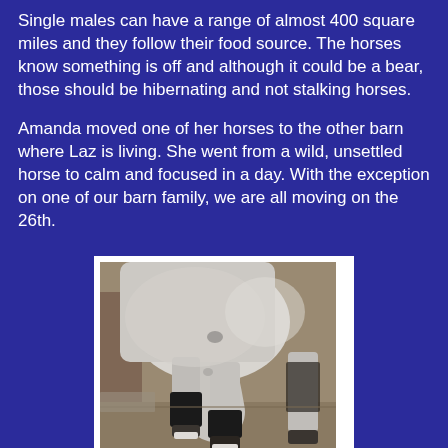Single males can have a range of almost 400 square miles and they follow their food source. The horses know something is off and although it could be a bear, those should be hibernating and not stalking horses.

Amanda moved one of her horses to the other barn where Laz is living. She went from a wild, unsettled horse to calm and focused in a day. With the exception on one of our barn family, we are all moving on the 26th.
[Figure (photo): Close-up photograph of a white/grey horse's lower legs and hooves, with black leg wraps/boots on the legs. The horse is standing on a dirt or concrete surface. Another horse's leg is partially visible in the background to the right.]